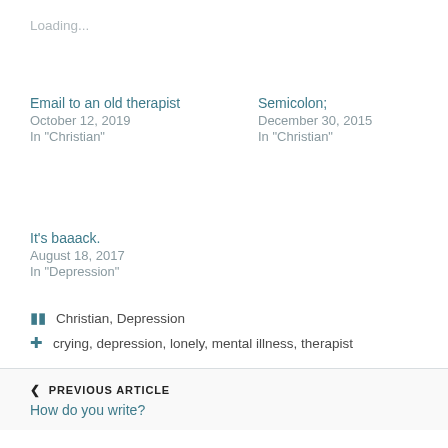Loading...
Email to an old therapist
October 12, 2019
In "Christian"
Semicolon;
December 30, 2015
In "Christian"
It's baaack.
August 18, 2017
In "Depression"
Christian, Depression
crying, depression, lonely, mental illness, therapist
❮ PREVIOUS ARTICLE
How do you write?